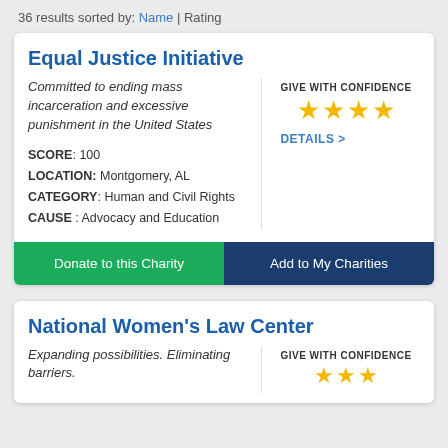36 results sorted by: Name | Rating
Equal Justice Initiative
Committed to ending mass incarceration and excessive punishment in the United States
[Figure (other): GIVE WITH CONFIDENCE label with 4 gold stars rating]
DETAILS >
SCORE: 100
LOCATION: Montgomery, AL
CATEGORY: Human and Civil Rights
CAUSE : Advocacy and Education
Donate to this Charity
Add to My Charities
National Women's Law Center
Expanding possibilities. Eliminating barriers.
[Figure (other): GIVE WITH CONFIDENCE label with gold stars rating (partially visible)]